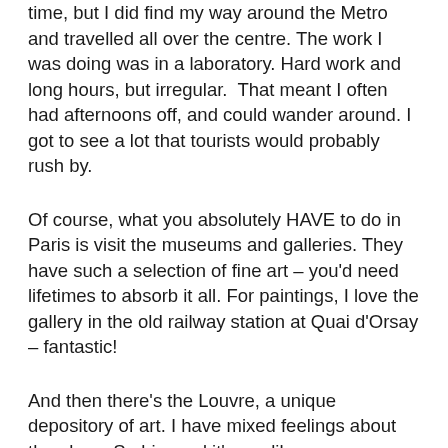time, but I did find my way around the Metro and travelled all over the centre. The work I was doing was in a laboratory. Hard work and long hours, but irregular.  That meant I often had afternoons off, and could wander around. I got to see a lot that tourists would probably rush by.
Of course, what you absolutely HAVE to do in Paris is visit the museums and galleries. They have such a selection of fine art – you'd need lifetimes to absorb it all. For paintings, I love the gallery in the old railway station at Quai d'Orsay – fantastic!
And then there's the Louvre, a unique depository of art. I have mixed feelings about the place. So big, and it's run like a ware-house. Very little in the way of explanation to each exhibit. You are left to wander along miles and miles of corridors, passing treasure